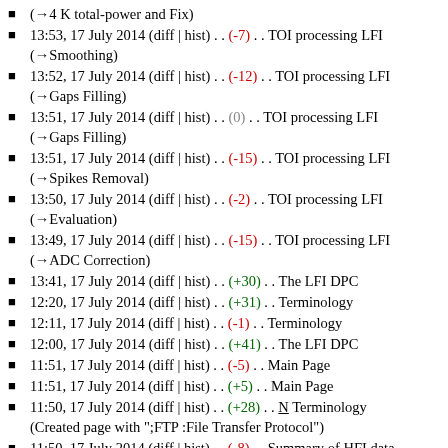(→4 K total-power and Fix)
13:53, 17 July 2014 (diff | hist) . . (-7) . . TOI processing LFI (→Smoothing)
13:52, 17 July 2014 (diff | hist) . . (-12) . . TOI processing LFI (→Gaps Filling)
13:51, 17 July 2014 (diff | hist) . . (0) . . TOI processing LFI (→Gaps Filling)
13:51, 17 July 2014 (diff | hist) . . (-15) . . TOI processing LFI (→Spikes Removal)
13:50, 17 July 2014 (diff | hist) . . (-2) . . TOI processing LFI (→Evaluation)
13:49, 17 July 2014 (diff | hist) . . (-15) . . TOI processing LFI (→ADC Correction)
13:41, 17 July 2014 (diff | hist) . . (+30) . . The LFI DPC
12:20, 17 July 2014 (diff | hist) . . (+31) . . Terminology
12:11, 17 July 2014 (diff | hist) . . (-1) . . Terminology
12:00, 17 July 2014 (diff | hist) . . (+41) . . The LFI DPC
11:51, 17 July 2014 (diff | hist) . . (-5) . . Main Page
11:51, 17 July 2014 (diff | hist) . . (+5) . . Main Page
11:50, 17 July 2014 (diff | hist) . . (+28) . . N Terminology (Created page with ";FTP :File Transfer Protocol")
11:50, 17 July 2014 (diff | hist) . . (-8) . . Summary of HFI data characteristics
10:18, 17 July 2014 (diff | hist) . . (+1) . . HFI-Validation (→Yardstick simulations)
10:14, 17 July 2014 (diff | hist) . . (+5) . . HFI Validation